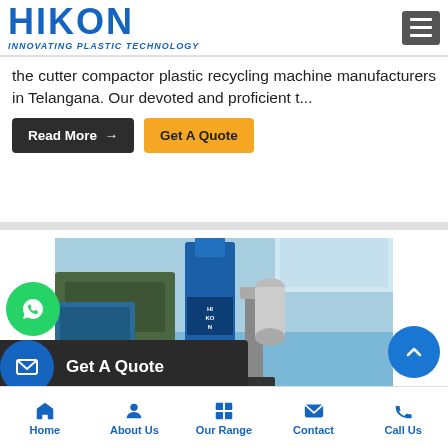HIKON — INNOVATING PLASTIC TECHNOLOGY
the cutter compactor plastic recycling machine manufacturers in Telangana. Our devoted and proficient t...
Read More →
Get A Quote
[Figure (photo): Industrial plastic recycling machine / extruder equipment displayed at a trade show, with blue hopper and HIKON branding visible]
Get A Quote
Home | About Us | Our Range | Contact | Call Us